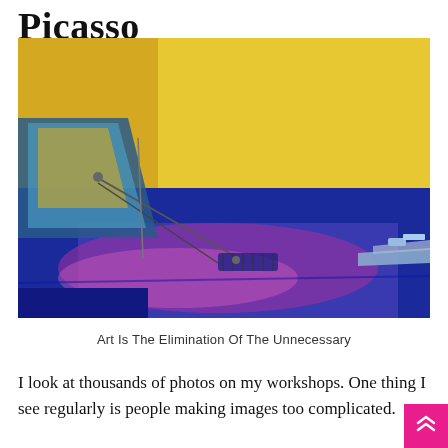Picasso
[Figure (photo): Close-up photograph of a classic blue car hood with purple-pink reflections, parked against a bright yellow wall with a brown horizontal stripe]
Art Is The Elimination Of The Unnecessary
I look at thousands of photos on my workshops. One thing I see regularly is people making images too complicated.